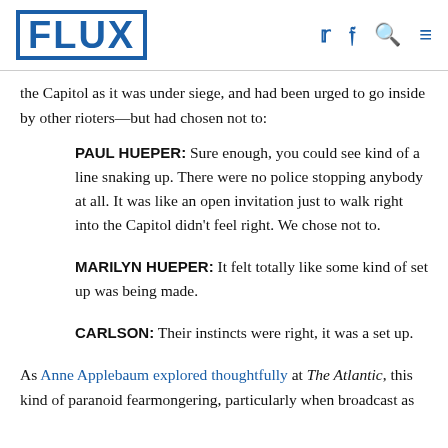FLUX
the Capitol as it was under siege, and had been urged to go inside by other rioters—but had chosen not to:
PAUL HUEPER: Sure enough, you could see kind of a line snaking up. There were no police stopping anybody at all. It was like an open invitation just to walk right into the Capitol didn't feel right. We chose not to.
MARILYN HUEPER: It felt totally like some kind of set up was being made.
CARLSON: Their instincts were right, it was a set up.
As Anne Applebaum explored thoughtfully at The Atlantic, this kind of paranoid fearmongering, particularly when broadcast as